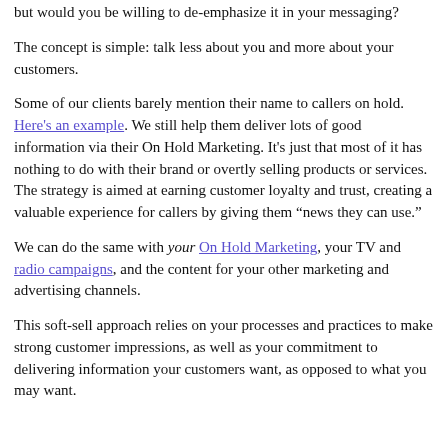but would you be willing to de-emphasize it in your messaging?
The concept is simple: talk less about you and more about your customers.
Some of our clients barely mention their name to callers on hold. Here's an example. We still help them deliver lots of good information via their On Hold Marketing. It's just that most of it has nothing to do with their brand or overtly selling products or services. The strategy is aimed at earning customer loyalty and trust, creating a valuable experience for callers by giving them “news they can use.”
We can do the same with your On Hold Marketing, your TV and radio campaigns, and the content for your other marketing and advertising channels.
This soft-sell approach relies on your processes and practices to make strong customer impressions, as well as your commitment to delivering information your customers want, as opposed to what you may want.